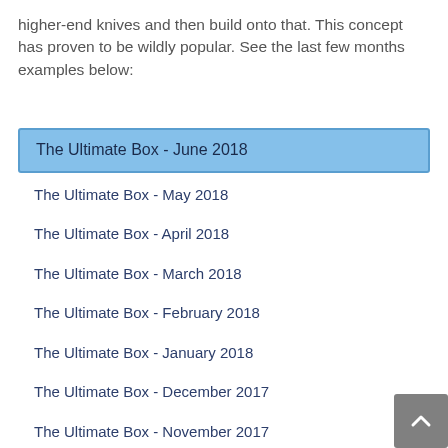higher-end knives and then build onto that. This concept has proven to be wildly popular. See the last few months examples below:
The Ultimate Box - June 2018
The Ultimate Box - May 2018
The Ultimate Box - April 2018
The Ultimate Box - March 2018
The Ultimate Box - February 2018
The Ultimate Box - January 2018
The Ultimate Box - December 2017
The Ultimate Box - November 2017